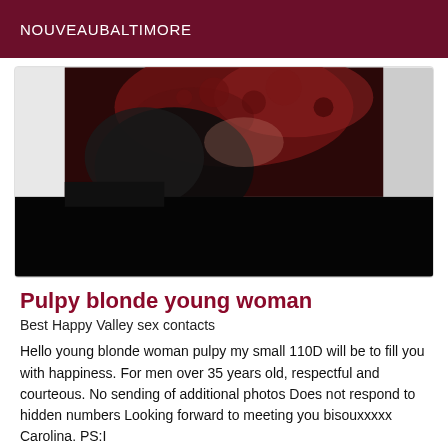NOUVEAUBALTIMORE
[Figure (photo): Partial view of a woman wearing dark lace/floral clothing, with the lower portion of the image in shadow/black.]
Pulpy blonde young woman
Best Happy Valley sex contacts
Hello young blonde woman pulpy my small 110D will be to fill you with happiness. For men over 35 years old, respectful and courteous. No sending of additional photos Does not respond to hidden numbers Looking forward to meeting you bisouxxxxx Carolina. PS:I